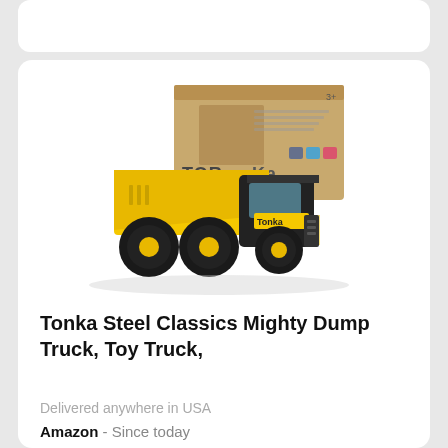[Figure (photo): Tonka Steel Classics Mighty Dump Truck toy product photo showing yellow dump truck with black body and wheels, with product box behind it]
Tonka Steel Classics Mighty Dump Truck, Toy Truck,
Delivered anywhere in USA
Amazon  - Since today
Price: 19 $
Product condition: Used